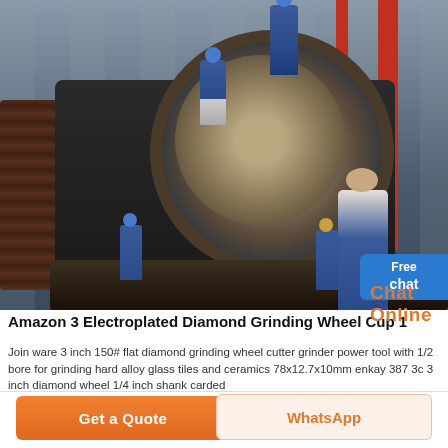[Figure (photo): Industrial workers in blue coveralls and helmets working on a large grinding mill machine inside a factory/warehouse with steel framework structure. A 'Free chat' button overlay appears in bottom right of the image.]
Amazon 3 Electroplated Diamond Grinding Wheel Cup 1
Join ware 3 inch 150# flat diamond grinding wheel cutter grinder power tool with 1/2 bore for grinding hard alloy glass tiles and ceramics 78x12.7x10mm enkay 387 3c 3 inch diamond wheel 1/4 inch shank carded
Chat Online
Get a Quote
WhatsApp